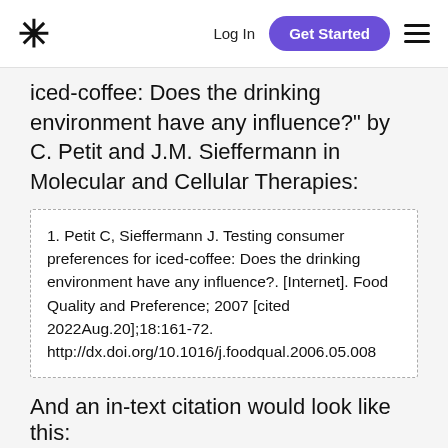* Log In  Get Started  ☰
iced-coffee: Does the drinking environment have any influence?" by C. Petit and J.M. Sieffermann in Molecular and Cellular Therapies:
1. Petit C, Sieffermann J. Testing consumer preferences for iced-coffee: Does the drinking environment have any influence?. [Internet]. Food Quality and Preference; 2007 [cited 2022Aug.20];18:161-72. http://dx.doi.org/10.1016/j.foodqual.2006.05.008
And an in-text citation would look like this:
[1]